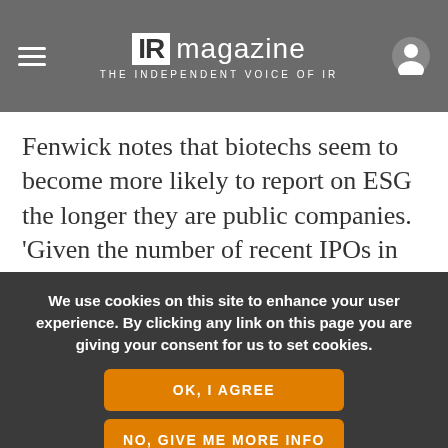IR magazine — THE INDEPENDENT VOICE OF IR
Fenwick notes that biotechs seem to become more likely to report on ESG the longer they are public companies. 'Given the number of recent IPOs in the biotech sector, we expect ESG disclosure will accelerate accordingly as these
We use cookies on this site to enhance your user experience. By clicking any link on this page you are giving your consent for us to set cookies.
OK, I AGREE
NO, GIVE ME MORE INFO